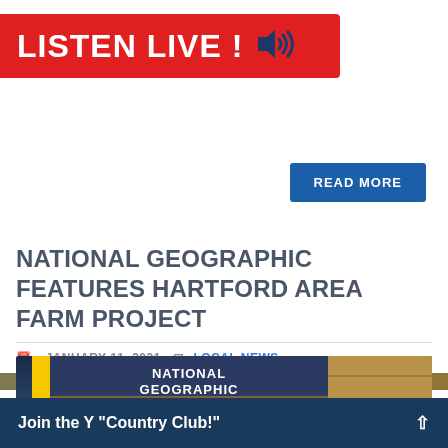[Figure (screenshot): Red 'LISTEN LIVE!' banner with speaker icon, overlapping partial text that reads 'Hodg...' and 'consi...']
Hodg... consi...
[Figure (screenshot): Blue 'READ MORE' button]
NATIONAL GEOGRAPHIC FEATURES HARTFORD AREA FARM PROJECT
JANUARY 11, 2021  LOCAL NEWS
[Figure (photo): National Geographic magazine cover showing 'NATIONAL GEOGRAPHIC' text and 'SAVING' at the bottom, displayed on a wooden bench with scenic background]
Join the Y "Country Club!"